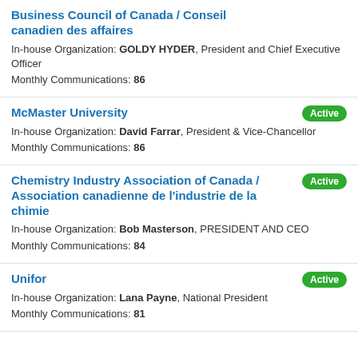Business Council of Canada / Conseil canadien des affaires — In-house Organization: GOLDY HYDER, President and Chief Executive Officer. Monthly Communications: 86
McMaster University [Active] — In-house Organization: David Farrar, President & Vice-Chancellor. Monthly Communications: 86
Chemistry Industry Association of Canada / Association canadienne de l'industrie de la chimie [Active] — In-house Organization: Bob Masterson, PRESIDENT AND CEO. Monthly Communications: 84
Unifor [Active] — In-house Organization: Lana Payne, National President. Monthly Communications: 81